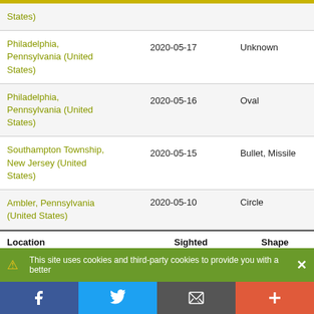| Location | Sighted on | Shape |
| --- | --- | --- |
| Philadelphia, Pennsylvania (United States) | 2020-05-17 | Unknown |
| Philadelphia, Pennsylvania (United States) | 2020-05-16 | Oval |
| Southampton Township, New Jersey (United States) | 2020-05-15 | Bullet, Missile |
| Ambler, Pennsylvania (United States) | 2020-05-10 | Circle |
This site uses cookies and third-party cookies to provide you with a better